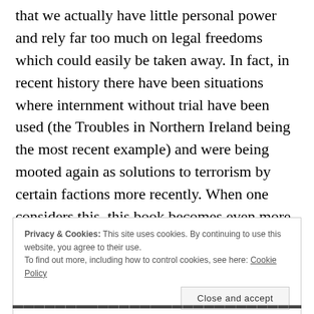that we actually have little personal power and rely far too much on legal freedoms which could easily be taken away. In fact, in recent history there have been situations where internment without trial have been used (the Troubles in Northern Ireland being the most recent example) and were being mooted again as solutions to terrorism by certain factions more recently. When one considers this, this book becomes even more eye-opening. ‘There by the grace of God” is a phrase that springs to mind.
Privacy & Cookies: This site uses cookies. By continuing to use this website, you agree to their use. To find out more, including how to control cookies, see here: Cookie Policy
Close and accept
(truncated bottom text)